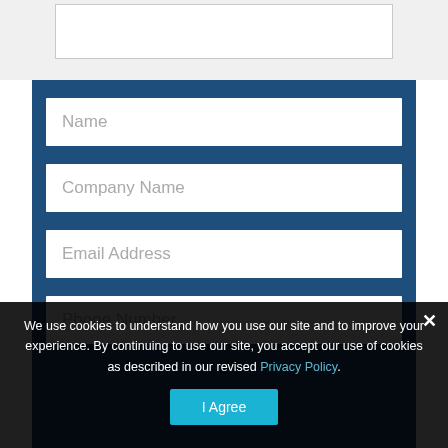[Figure (screenshot): Top white section with a white input box outline visible at top of page]
[Figure (screenshot): Dark blue contact form with four input fields: Name, Company Name, Email Address, Phone Number]
Name
Company Name
Email Address
Phone Number
We use cookies to understand how you use our site and to improve your experience. By continuing to use our site, you accept our use of cookies as described in our revised Privacy Policy.
I Agree